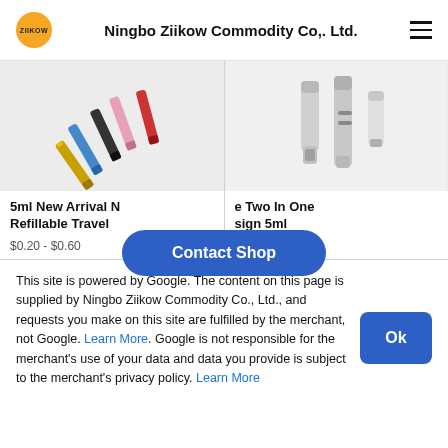Ningbo Ziikow Commodity Co,. Ltd.
[Figure (photo): Multiple colorful refillable travel perfume pens in gold, blue, black, pink, red arranged diagonally]
[Figure (photo): Two silver metallic refillable travel perfume pens side by side]
5ml New Arrival M... Refillable Travel ...
...e Two In One ...sign 5ml
$0.20 - $0.60
$0.40 - $0.75
[Figure (other): Contact Shop button overlay]
This site is powered by Google. The content on this page is supplied by Ningbo Ziikow Commodity Co., Ltd., and requests you make on this site are fulfilled by the merchant, not Google. Learn More. Google is not responsible for the merchant's use of your data and data you provide is subject to the merchant's privacy policy. Learn More